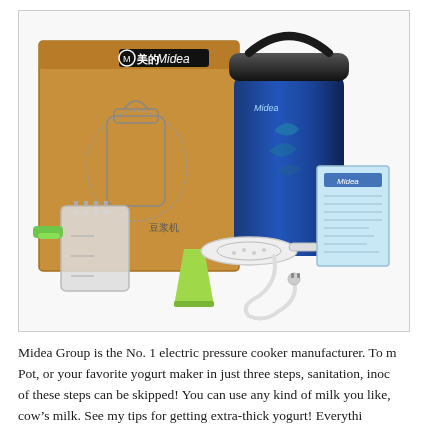[Figure (photo): Product photo showing a Midea brand appliance (soy milk maker / electric pot) in blue metallic color with black lid and handle, displayed alongside its cardboard box (showing the Midea logo with Chinese characters), a green-handled plastic measuring cup, a small green cup, a plastic strainer/filter, a power cord/tube, and a light blue instruction manual booklet, all on a white background.]
Midea Group is the No. 1 electric pressure cooker manufacturer. To make Yogurt in the Instant Pot, or your favorite yogurt maker in just three steps, sanitation, inoculation, and incubation. None of these steps can be skipped! You can use any kind of milk you like, but I prefer whole cow's milk. See my tips for getting extra-thick yogurt! Everythi